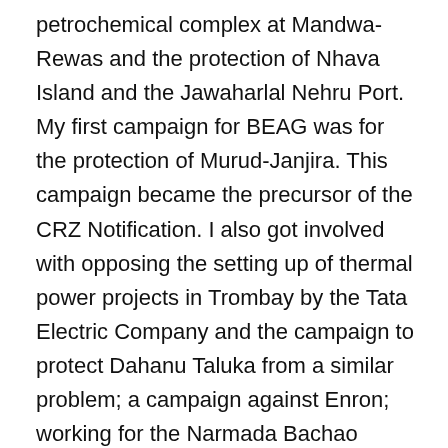petrochemical complex at Mandwa-Rewas and the protection of Nhava Island and the Jawaharlal Nehru Port. My first campaign for BEAG was for the protection of Murud-Janjira. This campaign became the precursor of the CRZ Notification. I also got involved with opposing the setting up of thermal power projects in Trombay by the Tata Electric Company and the campaign to protect Dahanu Taluka from a similar problem; a campaign against Enron; working for the Narmada Bachao Campaign; protection of the Sanjay Gandhi National Park; and our campaign to protect mangroves. Unfortunately for me, most of these issues were not of great importance to the BEAG managing committee, and I was constantly having to fight internal battles as well. BEAG was happier with urban heritage